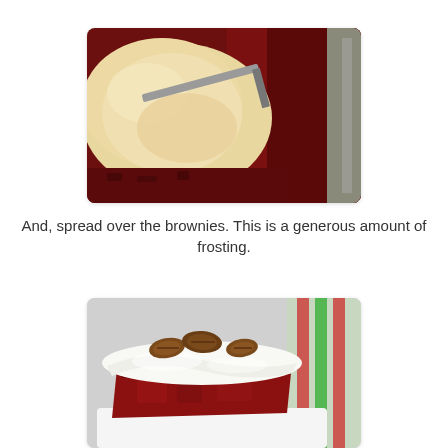[Figure (photo): Close-up photo of cream cheese frosting being spread with a spatula over red velvet brownies in a baking pan]
And, spread over the brownies. This is a generous amount of frosting.
[Figure (photo): Close-up photo of a slice of red velvet brownie topped with white cream cheese frosting and pecan pieces, with red and green striped ribbon in background]